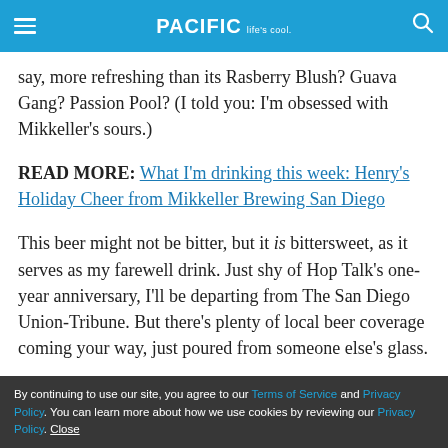PACIFIC Life's cool.
say, more refreshing than its Rasberry Blush? Guava Gang? Passion Pool? (I told you: I'm obsessed with Mikkeller's sours.)
READ MORE: What I'm drinking this week: Henry's Holiday Cheer from Mikkeller Brewing San Diego
This beer might not be bitter, but it is bittersweet, as it serves as my farewell drink. Just shy of Hop Talk's one-year anniversary, I'll be departing from The San Diego Union-Tribune. But there's plenty of local beer coverage coming your way, just poured from someone else's glass.
By continuing to use our site, you agree to our Terms of Service and Privacy Policy. You can learn more about how we use cookies by reviewing our Privacy Policy. Close